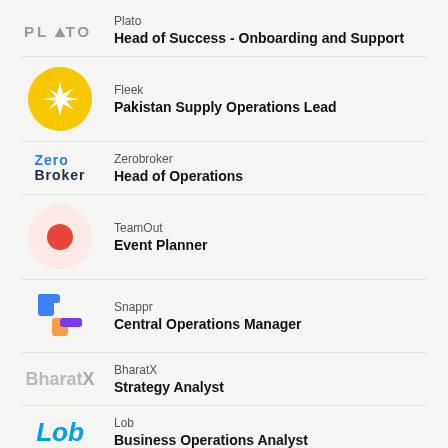Plato — Head of Success - Onboarding and Support
Fleek — Pakistan Supply Operations Lead
Zerobroker — Head of Operations
TeamOut — Event Planner
Snappr — Central Operations Manager
BharatX — Strategy Analyst
Lob — Business Operations Analyst